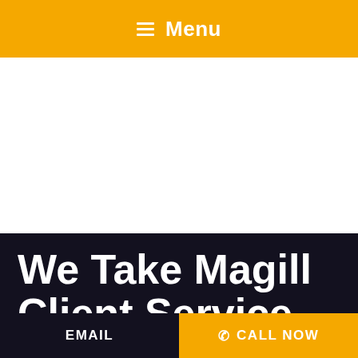☰ Menu
[Figure (other): White blank area below navigation header]
We Take Magill Client Service Seriously
EMAIL | ✆ CALL NOW